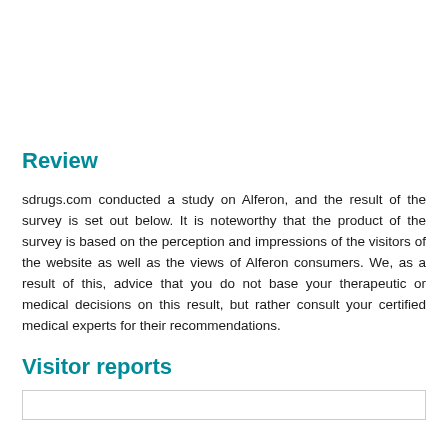Review
sdrugs.com conducted a study on Alferon, and the result of the survey is set out below. It is noteworthy that the product of the survey is based on the perception and impressions of the visitors of the website as well as the views of Alferon consumers. We, as a result of this, advice that you do not base your therapeutic or medical decisions on this result, but rather consult your certified medical experts for their recommendations.
Visitor reports